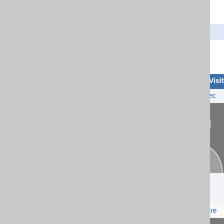Registered on: 11/21/08 01:11 A
Show User's Po...
Visitor Comments
Apec
12/01/20 09:42 AM
[Figure (illustration): Default user avatar silhouette with question mark]
surefire
08/22/20 01:40 AM
[Figure (illustration): Default user avatar silhouette with question mark]
About Me
Birthday:
Location:
What is yo... City or Co... location?:
Show Shoutbox? yes, no ):
How did yo... learn of VaGunTra... (friend, gu... show,inter... search, facebook, etc):
Contact In...
UBB Budd...